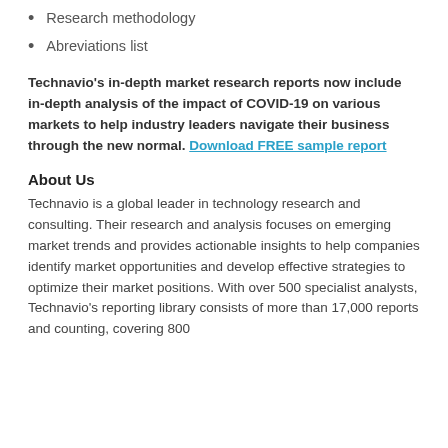Research methodology
Abreviations list
Technavio's in-depth market research reports now include in-depth analysis of the impact of COVID-19 on various markets to help industry leaders navigate their business through the new normal. Download FREE sample report
About Us
Technavio is a global leader in technology research and consulting. Their research and analysis focuses on emerging market trends and provides actionable insights to help companies identify market opportunities and develop effective strategies to optimize their market positions. With over 500 specialist analysts, Technavio's reporting library consists of more than 17,000 reports and counting, covering 800